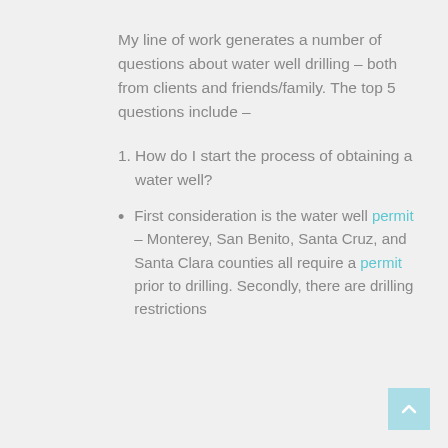My line of work generates a number of questions about water well drilling – both from clients and friends/family.  The top 5 questions include –
1. How do I start the process of obtaining a water well?
First consideration is the water well permit – Monterey, San Benito, Santa Cruz, and Santa Clara counties all require a permit prior to drilling.  Secondly, there are drilling restrictions